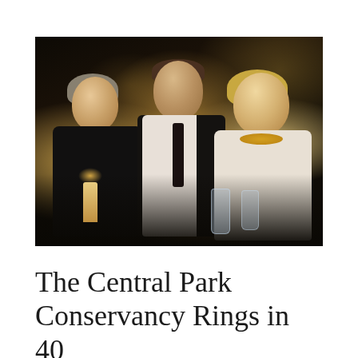[Figure (photo): Three people seated at a formal gala dinner table. On the left, a woman with gray-streaked hair wearing black. In the center, a tall man in a black suit with white shirt and black tie. On the right, a woman with blonde hair wearing a cream jacket and gold necklace. The background shows a warmly lit event space with candles and other guests.]
The Central Park Conservancy Rings in 40